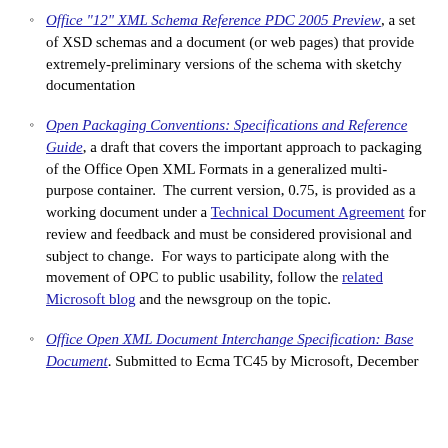Office "12" XML Schema Reference PDC 2005 Preview, a set of XSD schemas and a document (or web pages) that provide extremely-preliminary versions of the schema with sketchy documentation
Open Packaging Conventions: Specifications and Reference Guide, a draft that covers the important approach to packaging of the Office Open XML Formats in a generalized multi-purpose container. The current version, 0.75, is provided as a working document under a Technical Document Agreement for review and feedback and must be considered provisional and subject to change. For ways to participate along with the movement of OPC to public usability, follow the related Microsoft blog and the newsgroup on the topic.
Office Open XML Document Interchange Specification: Base Document. Submitted to Ecma TC45 by Microsoft, December